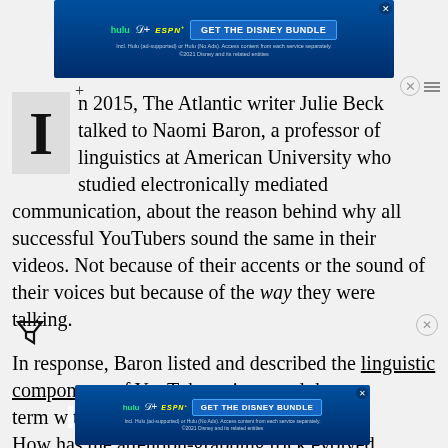[Figure (other): Disney Bundle advertisement banner at top of page with Hulu, Disney+, ESPN+ logos and GET THE DISNEY BUNDLE button]
n 2015, The Atlantic writer Julie Beck talked to Naomi Baron, a professor of linguistics at American University who studied electronically mediated communication, about the reason behind why all successful YouTubers sound the same in their videos. Not because of their accents or the sound of their voices but because of the way they were talking.
In response, Baron listed and described the linguistic components of YouTube voice—and the term w... t? How has the attention-grabbing trick evolved since then?
[Figure (other): Disney Bundle advertisement banner overlaid on lower portion of page]